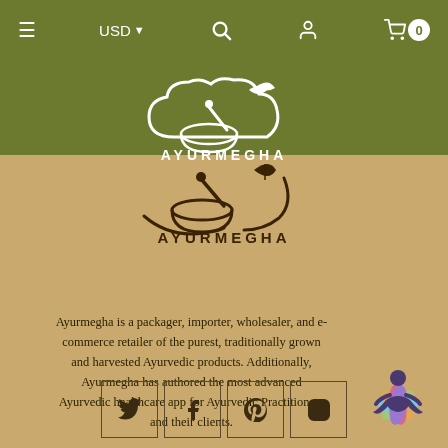≡  USD ▾  🔍  👤  🛒 0
[Figure (logo): Ayurmegha white logo — mortar and pestle inside a cloud shape with leaves, white on olive background, text AYURMEGHA]
[Figure (logo): Ayurmegha brown logo — mortar and pestle with curved lines and leaf, brown on tan background, text AYURMEGHA]
Ayurmegha is a packager, importer, wholesaler, and e-commerce retailer of the purest, traditionally grown and harvested Ayurvedic products. Additionally, Ayurmegha has authored the most advanced Ayurvedic healthcare app for Ayurvedic Practitioners and their clients.
[Figure (illustration): Colorful yoga meditation figure sitting cross-legged with lotus petals in rainbow colors]
[Figure (other): Four social media icon boxes: Twitter bird, Facebook f, Pinterest P, Instagram camera]